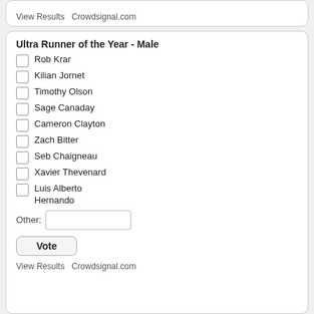View Results   Crowdsignal.com
Ultra Runner of the Year - Male
Rob Krar
Kilian Jornet
Timothy Olson
Sage Canaday
Cameron Clayton
Zach Bitter
Seb Chaigneau
Xavier Thevenard
Luis Alberto Hernando
Other:
Vote
View Results   Crowdsignal.com